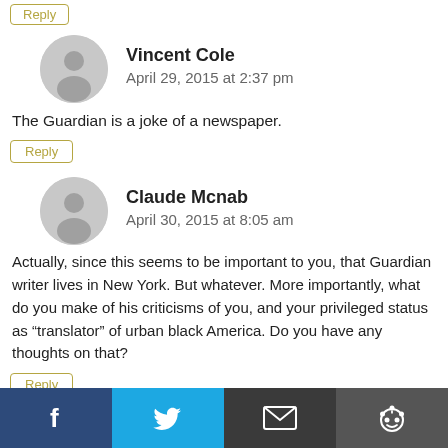Reply
Vincent Cole
April 29, 2015 at 2:37 pm
The Guardian is a joke of a newspaper.
Reply
Claude Mcnab
April 30, 2015 at 8:05 am
Actually, since this seems to be important to you, that Guardian writer lives in New York. But whatever. More importantly, what do you make of his criticisms of you, and your privileged status as “translator” of urban black America. Do you have any thoughts on that?
Reply